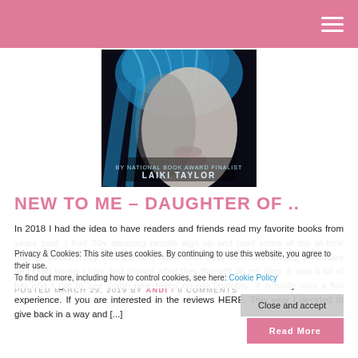≡
[Figure (photo): Book cover for 'Daughter of Smoke and Bone' by Laiki Taylor — dark background with a figure with blue hair, close-up face, text reads 'BY NATIONAL BOOK AWARD FINALIST LAIKI TAYLOR']
NEW TO ME – DAUGHTER OF ..
In 2018 I had the idea to have readers and friends read my favorite books from years past. I had 20+ amazing people sign up and read some of my all-time favorite books. They took the time out of their busy lives and reading schedules and read books I love and shared what they thought on my blog. It was a lot of fun and I got to see some new takes on old favorites. It actually was a fun experience. If you are interested in the reviews HERE. This year I decided to give back in a way and [...]
Privacy & Cookies: This site uses cookies. By continuing to use this website, you agree to their use. To find out more, including how to control cookies, see here: Cookie Policy
Close and accept
POSTED MARCH 29, 2019 BY ANDI / 0 COMMENTS
Read More